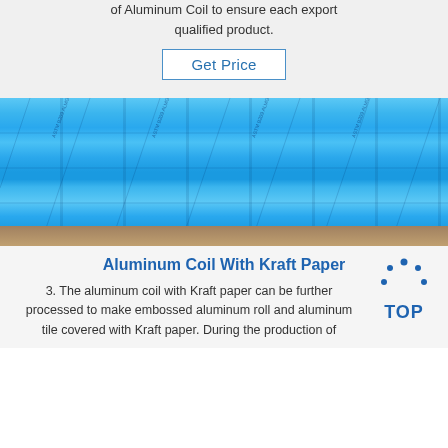of Aluminum Coil to ensure each export qualified product.
Get Price
[Figure (photo): Photo of blue-wrapped aluminum coil rolls stacked horizontally, with printed text markings visible on the blue protective film. The bottom shows a wooden pallet.]
Aluminum Coil With Kraft Paper
3. The aluminum coil with Kraft paper can be further processed to make embossed aluminum roll and aluminum tile covered with Kraft paper. During the production of